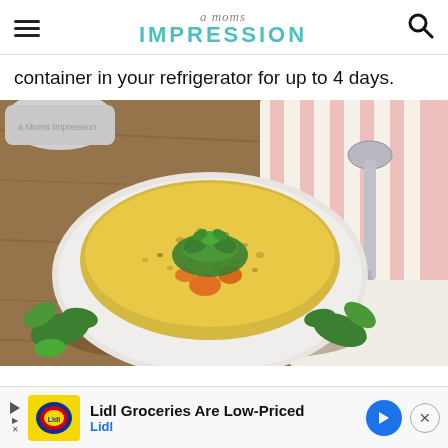a moms IMPRESSION
container in your refrigerator for up to 4 days.
[Figure (photo): A white bowl of creamy yellow lentil soup with carrot pieces and a sprig of cilantro on top, set on a wooden surface with a striped pink and white cloth, a spoon, and fresh cilantro leaves nearby. An Instant Pot is partially visible in the background.]
[Figure (screenshot): Lidl advertisement banner: 'Lidl Groceries Are Low-Priced' with Lidl logo and a blue circular arrow button, and an X close button.]